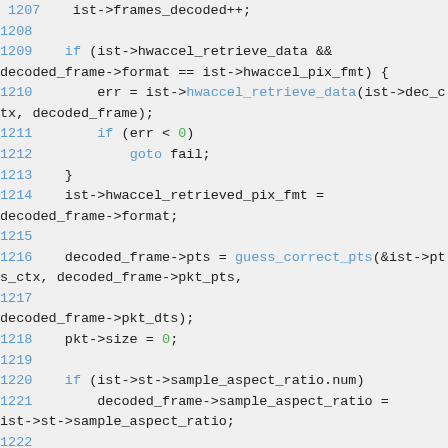[Figure (screenshot): Source code listing showing C code lines 1207-1224 with syntax highlighting. Line numbers in blue, keywords in blue, function names in blue, numeric literals in green, other code in dark/black.]